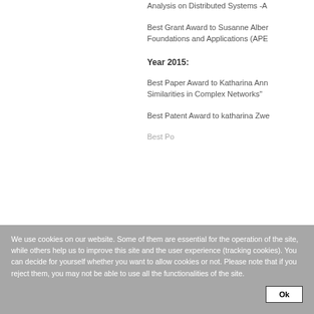Analysis on Distributed Systems -A
Best Grant Award to Susanne Albers Foundations and Applications (APE
Year 2015:
Best Paper Award to Katharina Ann Similarities in Complex Networks"
Best Patent Award to katharina Zwe
Best Poster Award to Michael Ha
We use cookies on our website. Some of them are essential for the operation of the site, while others help us to improve this site and the user experience (tracking cookies). You can decide for yourself whether you want to allow cookies or not. Please note that if you reject them, you may not be able to use all the functionalities of the site.